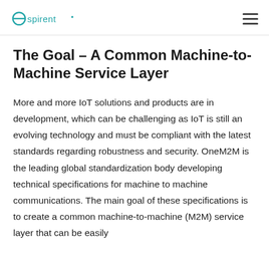Spirent
The Goal – A Common Machine-to-Machine Service Layer
More and more IoT solutions and products are in development, which can be challenging as IoT is still an evolving technology and must be compliant with the latest standards regarding robustness and security. OneM2M is the leading global standardization body developing technical specifications for machine to machine communications. The main goal of these specifications is to create a common machine-to-machine (M2M) service layer that can be easily